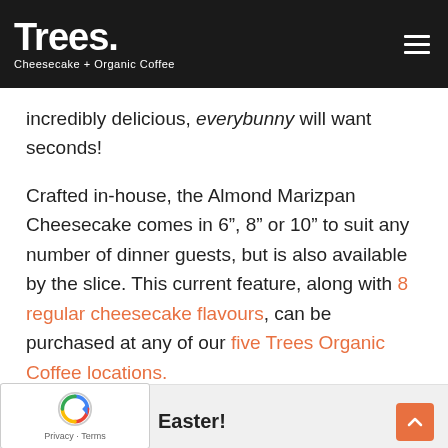Trees. Cheesecake + Organic Coffee
incredibly delicious, everybunny will want seconds!
Crafted in-house, the Almond Marizpan Cheesecake comes in 6", 8" or 10" to suit any number of dinner guests, but is also available by the slice. This current feature, along with 8 regular cheesecake flavours, can be purchased at any of our five Trees Organic Coffee locations.
Easter!